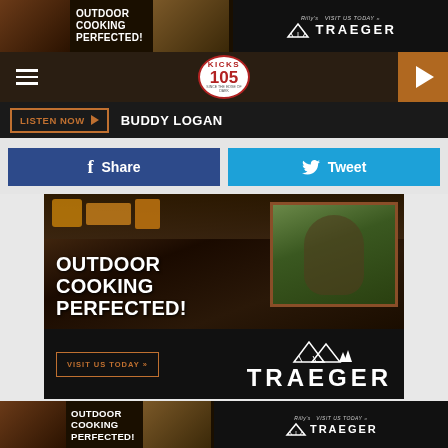[Figure (screenshot): Top ad banner for Traeger grills - Outdoor Cooking Perfected with people grilling and Traeger logo]
[Figure (screenshot): Kicks 105 radio station navigation bar with hamburger menu, logo, and play button]
LISTEN NOW  BUDDY LOGAN
Share
Tweet
[Figure (screenshot): Large Traeger grill advertisement - Outdoor Cooking Perfected with Visit Us Today button and Traeger logo with mountains]
[Figure (screenshot): Bottom repeat of Traeger ad banner - Outdoor Cooking Perfected]